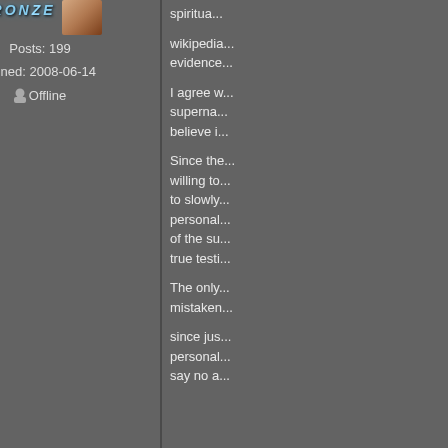BRONZE
Posts: 199
Joined: 2008-06-14
Offline
spiritua...
wikipedia... evidence...
I agree w... superna... believe i...
Since the... willing to... to slowly... personal... of the su... true testi...
The only... mistaken...
since jus... personal... say no a...
Login or register to post comments
#8
Wonderist
atheist
To have
To have (as per y... conclusi...